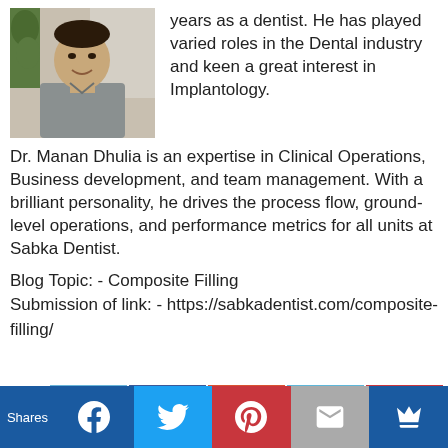[Figure (photo): Headshot photo of Dr. Manan Dhulia, a man in a grey shirt, smiling, with green foliage in background]
years as a dentist. He has played varied roles in the Dental industry and keen a great interest in Implantology. Dr. Manan Dhulia is an expertise in Clinical Operations, Business development, and team management. With a brilliant personality, he drives the process flow, ground-level operations, and performance metrics for all units at Sabka Dentist.
Blog Topic: - Composite Filling
Submission of link: - https://sabkadentist.com/composite-filling/
[Figure (infographic): Social share buttons: Tweet (Twitter), Share (Facebook), Share (Google+), Share (LinkedIn), Share (Pinterest)]
Shares | Facebook | Twitter | Pinterest | Email | Crown